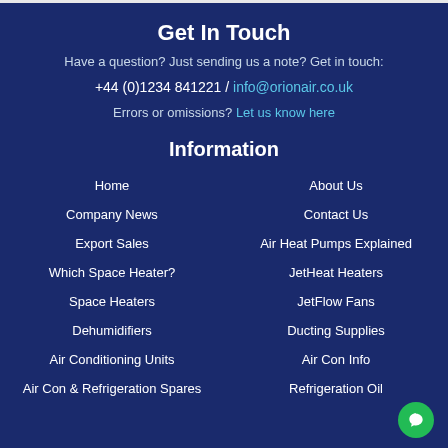Get In Touch
Have a question? Just sending us a note? Get in touch:
+44 (0)1234 841221 / info@orionair.co.uk
Errors or omissions? Let us know here
Information
Home
About Us
Company News
Contact Us
Export Sales
Air Heat Pumps Explained
Which Space Heater?
JetHeat Heaters
Space Heaters
JetFlow Fans
Dehumidifiers
Ducting Supplies
Air Conditioning Units
Air Con Info
Air Con & Refrigeration Spares
Refrigeration Oil